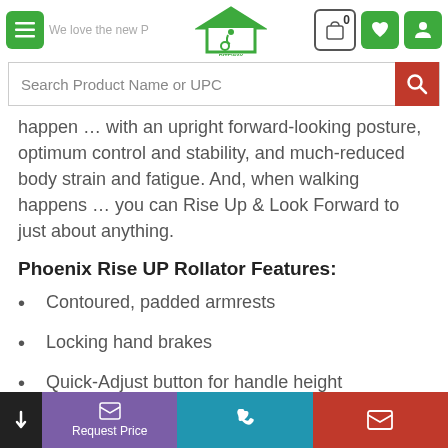Riteway Medical — navigation header with menu, logo, cart, wishlist, account icons
Search Product Name or UPC
happen … with an upright forward-looking posture, optimum control and stability, and much-reduced body strain and fatigue. And, when walking happens … you can Rise Up & Look Forward to just about anything.
Phoenix Rise UP Rollator Features:
Contoured, padded armrests
Locking hand brakes
Quick-Adjust button for handle height
10" front wheels & 9" rear wheels
Request Price | phone | email